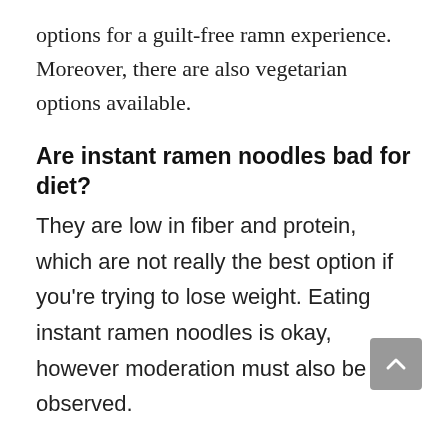options for a guilt-free ramn experience. Moreover, there are also vegetarian options available.
Are instant ramen noodles bad for diet?
They are low in fiber and protein, which are not really the best option if you're trying to lose weight. Eating instant ramen noodles is okay, however moderation must also be observed.
According to Racheel Link of the Healthline, eating instant ramen noodles isn't exactly unhealthy and bad for the diet. But, the regular consumption of such may be associated with